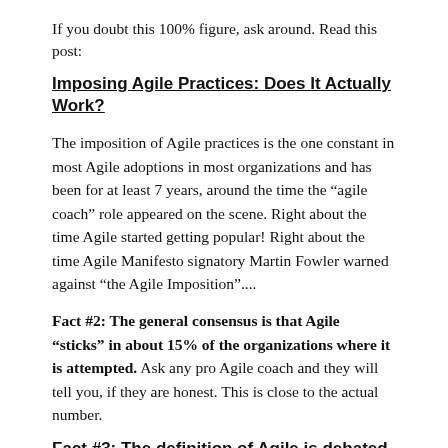If you doubt this 100% figure, ask around. Read this post:
Imposing Agile Practices: Does It Actually Work?
The imposition of Agile practices is the one constant in most Agile adoptions in most organizations and has been for at least 7 years, around the time the “agile coach” role appeared on the scene. Right about the time Agile started getting popular! Right about the time Agile Manifesto signatory Martin Fowler warned against “the Agile Imposition”....
Fact #2: The general consensus is that Agile “sticks” in about 15% of the organizations where it is attempted. Ask any pro Agile coach and they will tell you, if they are honest. This is close to the actual number.
Fact #3: The definition of Agile is debated by the...